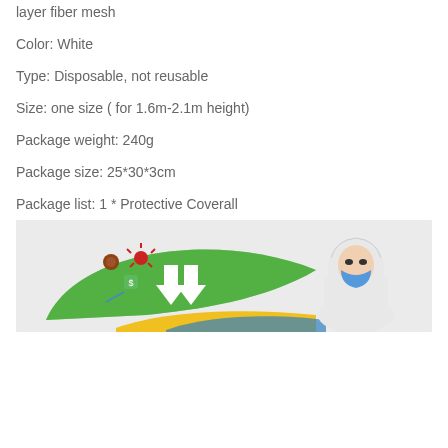layer fiber mesh
Color: White
Type: Disposable, not reusable
Size: one size ( for 1.6m-2.1m height)
Package weight: 240g
Package size: 25*30*3cm
Package list: 1 * Protective Coverall
[Figure (photo): Product promotional image showing a green leaf graphic with white arrows and small icons representing particles/bacteria on the left, and a person wearing a white protective coverall suit with hood and blue face mask on the right, against a light gray background.]